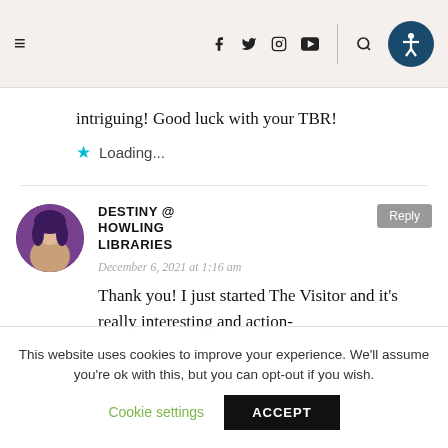≡  f  t  ◉  ▶  🔍  ♿
intriguing! Good luck with your TBR!
⭐ Loading...
DESTINY @ HOWLING LIBRARIES
December 6, 2021 at 1:16 am
Thank you! I just started The Visitor and it's really interesting and action-
This website uses cookies to improve your experience. We'll assume you're ok with this, but you can opt-out if you wish.
Cookie settings  ACCEPT